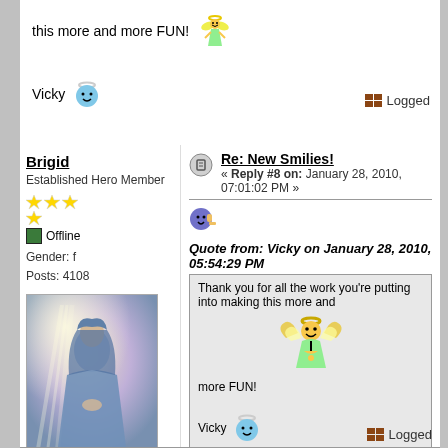this more and more FUN!
Vicky [angel smiley]
Logged
Brigid
Established Hero Member
Offline
Gender: f
Posts: 4108
[Figure (illustration): Avatar image of a religious painting (angel/Mary figure in blue robes with light rays)]
Re: New Smilies!
« Reply #8 on: January 28, 2010, 07:01:02 PM »
Quote from: Vicky on January 28, 2010, 05:54:29 PM
Thank you for all the work you're putting into making this more and more FUN!
Vicky [angel smiley]
Logged